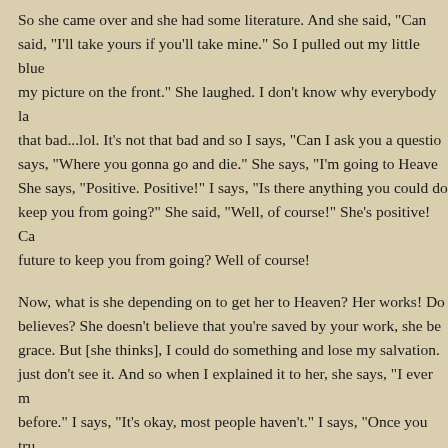So she came over and she had some literature. And she said, "Can she said, "I'll take yours if you'll take mine." So I pulled out my little blue my picture on the front." She laughed. I don't know why everybody la that bad...lol. It's not that bad and so I says, "Can I ask you a questio says, "Where you gonna go and die." She says, "I'm going to Heaven She says, "Positive. Positive!" I says, "Is there anything you could do keep you from going?" She said, "Well, of course!" She's positive! Ca future to keep you from going? Well of course!
Now, what is she depending on to get her to Heaven? Her works! Do believes? She doesn't believe that you're saved by your work, she be grace. But [she thinks], I could do something and lose my salvation. just don't see it. And so when I explained it to her, she says, "I ever before." I says, "It's okay, most people haven't." I says, "Once you tru that payment He made to your account, and you get to go to Heaven what you do! I says, "You have never lived good enough, and never Heaven. God says for by grace are you saved through faith, that not of God, not of works, lest any man should boast."
This is why me and Hank loved the Gospel, the clarity of the Gospel about 20 years. I'd come down here and I'd speak, but I didn't get a where Hank stood, and he had a reputation. Hank was good. He w